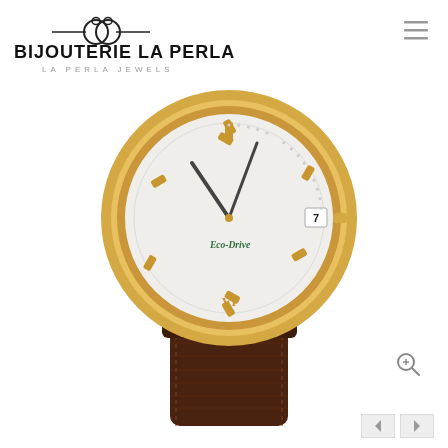[Figure (logo): Bijouterie La Perla logo with two interlocked rings above the brand name and tagline 'La Perla Jewels']
[Figure (photo): Close-up photo of a Citizen Eco-Drive watch with a gold-tone case, white/silver dial, Roman numeral VI, date window at 3 o'clock showing '7', and a dark brown leather strap with stitching.]
[Figure (other): Magnifying glass / zoom icon, small circular icon]